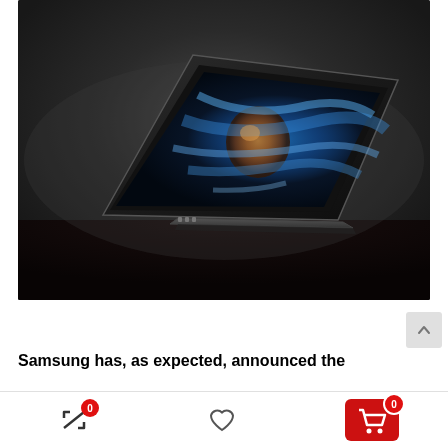[Figure (photo): Samsung laptop (Galaxy Book) open on a dark surface, screen showing a blue galaxy/ocean swirl wallpaper, photographed in low-light dramatic lighting against a dark gray background.]
Samsung has, as expected, announced the
[Figure (infographic): Bottom navigation toolbar with three icons: a shuffle/compare icon with badge '0', a heart/wishlist icon, and a red shopping cart button with badge '0'.]